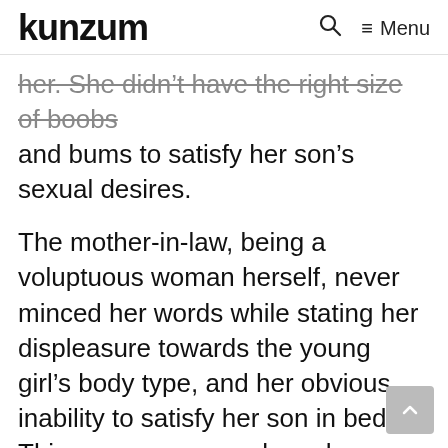kunzum   🔍   ≡ Menu
her. She didn't have the right size of boobs and bums to satisfy her son's sexual desires.
The mother-in-law, being a voluptuous woman herself, never minced her words while stating her displeasure towards the young girl's body type, and her obvious inability to satisfy her son in bed. Things grew worse when she started insulting the body type of Nisha's family members. Naturally, the girl was traumatised.
It isn't easy to deal with emotionally abusive people, especially with a spouse who never